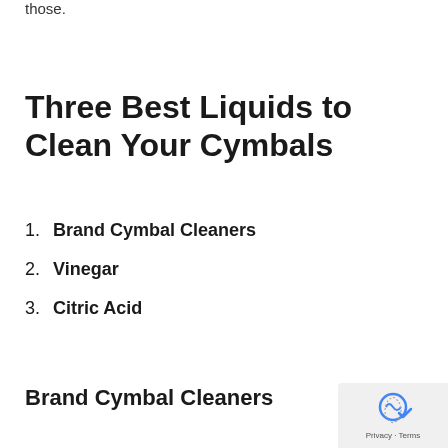those.
Three Best Liquids to Clean Your Cymbals
1. Brand Cymbal Cleaners
2. Vinegar
3. Citric Acid
Brand Cymbal Cleaners